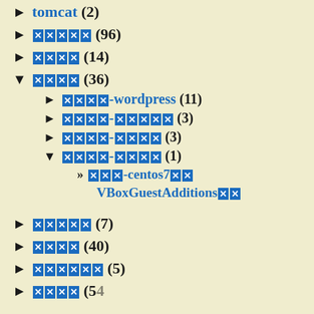► tomcat (2)
► [redacted] (96)
► [redacted] (14)
▼ [redacted] (36)
► [redacted]-wordpress (11)
► [redacted]-[redacted] (3)
► [redacted]-[redacted] (3)
▼ [redacted]-[redacted] (1)
» [redacted]-centos7 VBoxGuestAdditions
► [redacted] (7)
► [redacted] (40)
► [redacted] (5)
► [redacted] (54)